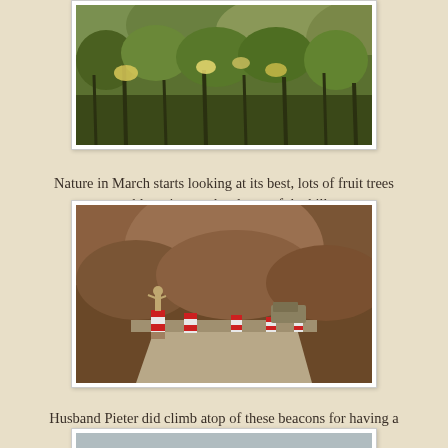[Figure (photo): Landscape photo showing nature in March with fruit trees blooming on hilly slopes, green and brown vegetation]
Nature in March starts looking at its best, lots of fruit trees are blooming on the slopes of the hills.
[Figure (photo): Photo of a mountain road with bollards/beacons, a person standing atop one of the beacons, forested hills in background, vintage sepia-toned]
Husband Pieter did climb atop of these beacons for having a better view of the valley.
[Figure (photo): Photo of three people standing near a white car with mountain scenery in the background]